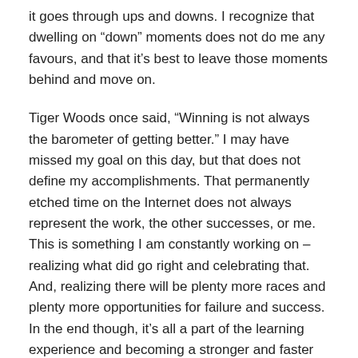it goes through ups and downs. I recognize that dwelling on “down” moments does not do me any favours, and that it’s best to leave those moments behind and move on.
Tiger Woods once said, “Winning is not always the barometer of getting better.” I may have missed my goal on this day, but that does not define my accomplishments. That permanently etched time on the Internet does not always represent the work, the other successes, or me. This is something I am constantly working on – realizing what did go right and celebrating that. And, realizing there will be plenty more races and plenty more opportunities for failure and success. In the end though, it’s all a part of the learning experience and becoming a stronger and faster competitor.